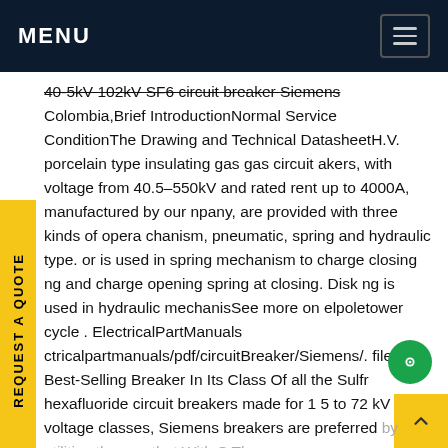MENU
40-5kV 102kV SF6 circuit breaker Siemens Colombia,Brief IntroductionNormal Service ConditionThe Drawing and Technical DatasheetH.V. porcelain type insulating gas gas circuit akers, with voltage from 40.5-550kV and rated rent up to 4000A, manufactured by our npany, are provided with three kinds of operating mechanism, pneumatic, spring and hydraulic type. or is used in spring mechanism to charge closing ng and charge opening spring at closing. Disk ng is used in hydraulic mechanisSee more on elpoletower cycle . ElectricalPartManuals ctricalpartmanuals/pdf/circuitBreaker/Siemens/.fileThe Best-Selling Breaker In Its Class Of all the Sulfr hexafluoride circuit breakers made for 1 5 to 72 kV voltage classes, Siemens breakers are preferred by utilities the one that With SF The